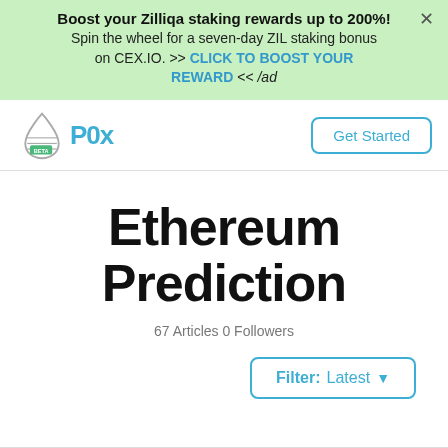Boost your Zilliqa staking rewards up to 200%! Spin the wheel for a seven-day ZIL staking bonus on CEX.IO. >> CLICK TO BOOST YOUR REWARD << /ad
[Figure (logo): P0x logo with a water drop icon and BETA label, followed by 'P0x' in teal text]
Get Started
Ethereum Prediction
67 Articles 0 Followers
Filter: Latest